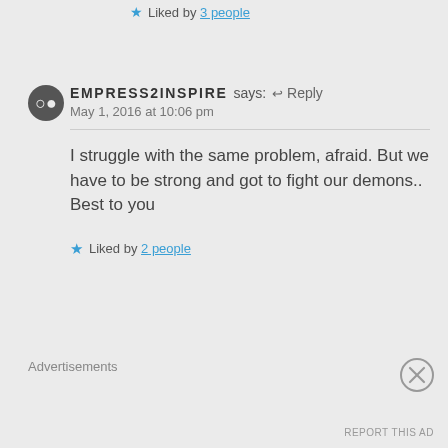★ Liked by 3 people
EMPRESS2INSPIRE says: ↩ Reply
May 1, 2016 at 10:06 pm
I struggle with the same problem, afraid. But we have to be strong and got to fight our demons.. Best to you
★ Liked by 2 people
Advertisements
REPORT THIS AD